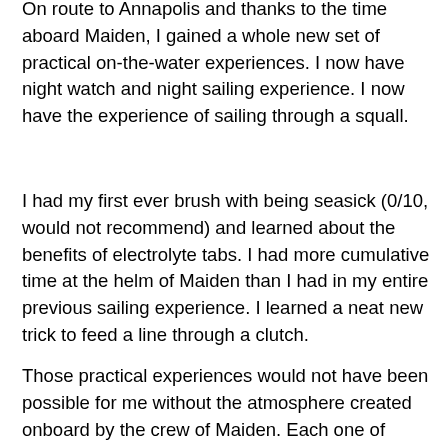On route to Annapolis and thanks to the time aboard Maiden, I gained a whole new set of practical on-the-water experiences. I now have night watch and night sailing experience. I now have the experience of sailing through a squall.
I had my first ever brush with being seasick (0/10, would not recommend) and learned about the benefits of electrolyte tabs. I had more cumulative time at the helm of Maiden than I had in my entire previous sailing experience. I learned a neat new trick to feed a line through a clutch.
Those practical experiences would not have been possible for me without the atmosphere created onboard by the crew of Maiden. Each one of those women communicated clearly, shared information transparently, gave explanations of actions freely, offered and received help graciously, and maintained politeness and courtesy throughout all conditions,